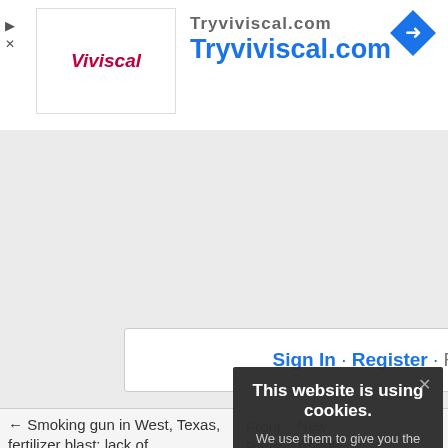[Figure (screenshot): Ad banner for Viviscal / Tryviviscal.com with logo, URL text in blue, navigation arrow icon in blue diamond shape, and close/play icons on the left]
Sign In · Register · Forgot passv
← Smoking gun in West, Texas, fertilizer blast: lack of government oversight (2)
Front Page
New wetlan
Categories
Daily
Monthly
Twitter
Fun
Search
About
NBA Player Jason Colli
Comes Out
'Note to Sha
This website is using cookies. We use them to give you the best experience. If you continue using our website, we'll assume that you are happy to receive all cookies on this website.
Continue
Learn more